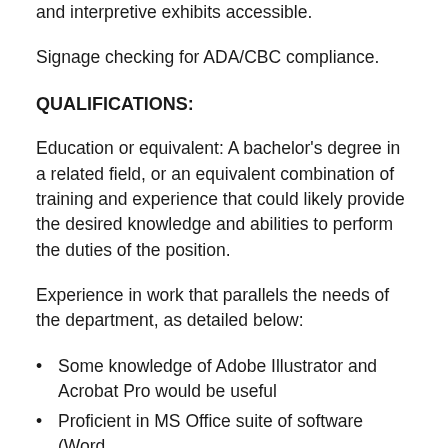and interpretive exhibits accessible.
Signage checking for ADA/CBC compliance.
QUALIFICATIONS:
Education or equivalent: A bachelor's degree in a related field, or an equivalent combination of training and experience that could likely provide the desired knowledge and abilities to perform the duties of the position.
Experience in work that parallels the needs of the department, as detailed below:
Some knowledge of Adobe Illustrator and Acrobat Pro would be useful
Proficient in MS Office suite of software (Word